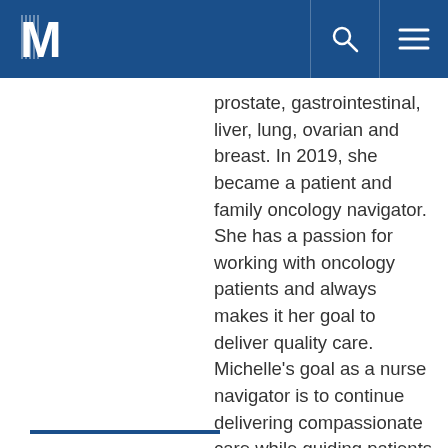M [logo]
prostate, gastrointestinal, liver, lung, ovarian and breast. In 2019, she became a patient and family oncology navigator. She has a passion for working with oncology patients and always makes it her goal to deliver quality care. Michelle's goal as a nurse navigator is to continue delivering compassionate care while guiding patients and families through their breast cancer journey.